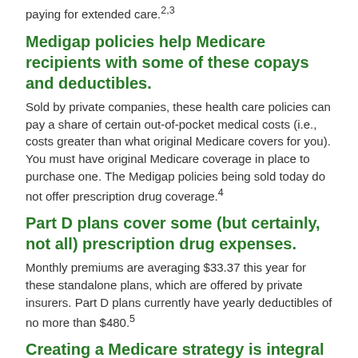paying for extended care.2,3
Medigap policies help Medicare recipients with some of these copays and deductibles.
Sold by private companies, these health care policies can pay a share of certain out-of-pocket medical costs (i.e., costs greater than what original Medicare covers for you). You must have original Medicare coverage in place to purchase one. The Medigap policies being sold today do not offer prescription drug coverage.4
Part D plans cover some (but certainly, not all) prescription drug expenses.
Monthly premiums are averaging $33.37 this year for these standalone plans, which are offered by private insurers. Part D plans currently have yearly deductibles of no more than $480.5
Creating a Medicare strategy is integral to your